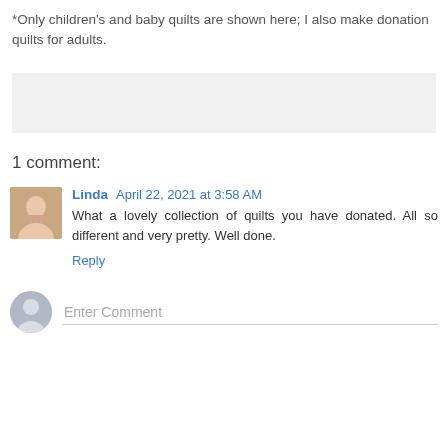*Only children's and baby quilts are shown here; I also make donation quilts for adults.
[Figure (other): Gray placeholder bar (image area)]
1 comment:
Linda April 22, 2021 at 3:58 AM
What a lovely collection of quilts you have donated. All so different and very pretty. Well done.
Reply